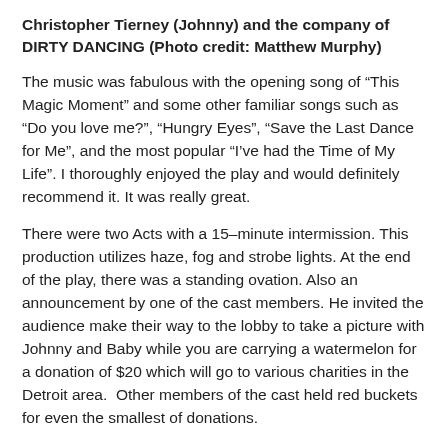Christopher Tierney (Johnny) and the company of DIRTY DANCING (Photo credit: Matthew Murphy)
The music was fabulous with the opening song of “This Magic Moment” and some other familiar songs such as “Do you love me?”, “Hungry Eyes”, “Save the Last Dance for Me”, and the most popular “I’ve had the Time of My Life”. I thoroughly enjoyed the play and would definitely recommend it. It was really great.
There were two Acts with a 15-minute intermission. This production utilizes haze, fog and strobe lights. At the end of the play, there was a standing ovation. Also an announcement by one of the cast members. He invited the audience make their way to the lobby to take a picture with Johnny and Baby while you are carrying a watermelon for a donation of $20 which will go to various charities in the Detroit area. Other members of the cast held red buckets for even the smallest of donations.
Tickets for Dirty Dancing–The Classic Story on Stage range from